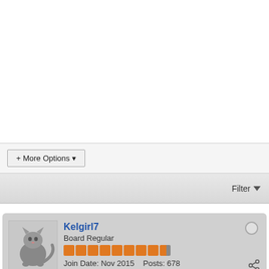[Figure (screenshot): White empty space at top of page]
+ More Options ▼
Filter ▼
[Figure (screenshot): Forum post card showing user Kelgirl7, Board Regular, with cat avatar, orange reputation pips, Join Date: Nov 2015, Posts: 678]